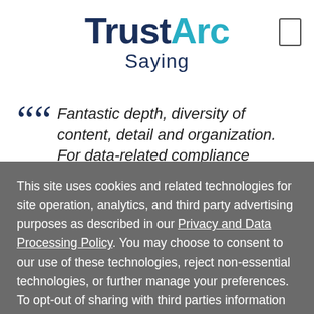[Figure (logo): TrustArc logo with 'Saying' subtitle underneath]
Fantastic depth, diversity of content, detail and organization. For data-related compliance
This site uses cookies and related technologies for site operation, analytics, and third party advertising purposes as described in our Privacy and Data Processing Policy. You may choose to consent to our use of these technologies, reject non-essential technologies, or further manage your preferences. To opt-out of sharing with third parties information related to these technologies, select "Decline All" or submit a Do Not Sell My Personal Information request.
Manage Settings
Accept
Decline All